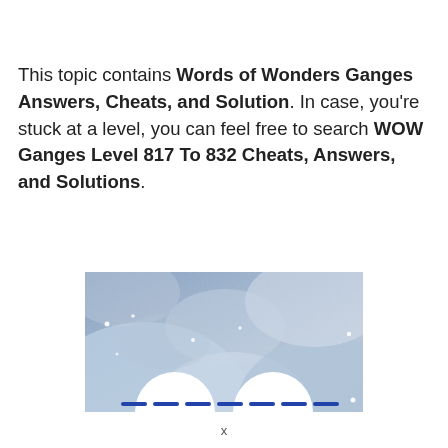This topic contains Words of Wonders Ganges Answers, Cheats, and Solution. In case, you're stuck at a level, you can feel free to search WOW Ganges Level 817 To 832 Cheats, Answers, and Solutions.
[Figure (screenshot): Screenshot of the Words of Wonders Ganges game level, showing a bluish-grey textured background with two white semicircles at the bottom and a row of blank letter dashes (underscores) indicating letters to fill in.]
x